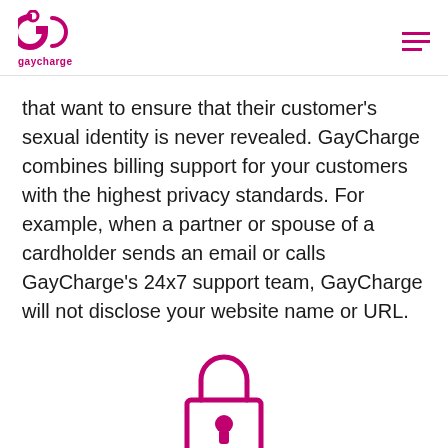gaycharge
that want to ensure that their customer's sexual identity is never revealed. GayCharge combines billing support for your customers with the highest privacy standards. For example, when a partner or spouse of a cardholder sends an email or calls GayCharge's 24x7 support team, GayCharge will not disclose your website name or URL.
[Figure (illustration): A padlock icon outlined in pink/magenta with a keyhole in the center, representing privacy and security.]
Protecting your customers